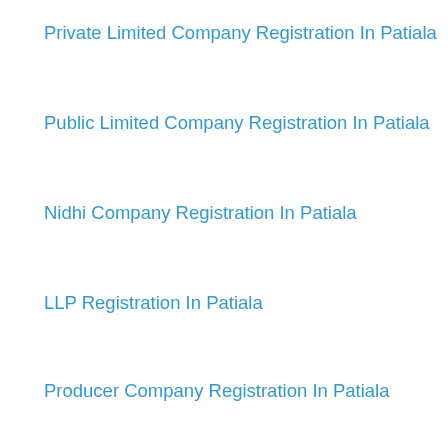Private Limited Company Registration In Patiala
Public Limited Company Registration In Patiala
Nidhi Company Registration In Patiala
LLP Registration In Patiala
Producer Company Registration In Patiala
Section 8 Company Registration In Patiala
Digital Signature Certificate...
Udyog Aadhaar Registrati...
Importer Exporter Code R...
FSSAI Registration In Pat...
Professional Tax Registrat...
[Figure (screenshot): Live chat popup widget with 'We're Online!' heading, 'How may I help you today?' message, a green 'Chat now' button, and an image of a woman wearing a headset on the right side.]